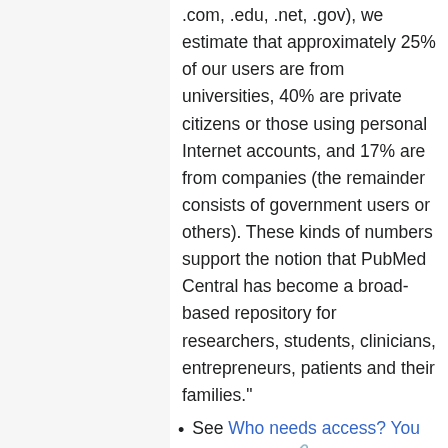.com, .edu, .net, .gov), we estimate that approximately 25% of our users are from universities, 40% are private citizens or those using personal Internet accounts, and 17% are from companies (the remainder consists of government users or others). These kinds of numbers support the notion that PubMed Central has become a broad-based repository for researchers, students, clinicians, entrepreneurs, patients and their families."
See Who needs access? You need access! — a web site from the @ccess working group collecting the stories of people who need research